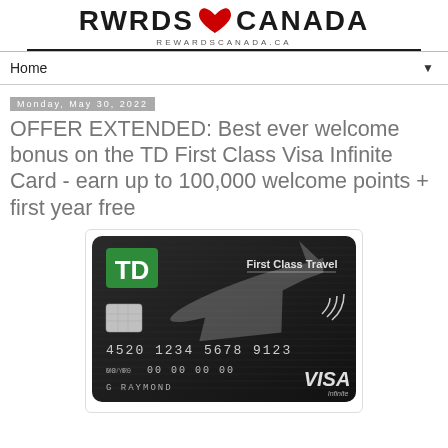RWRDS ♥ CANADA — REWARDSCANADA.CA
Home
Monday, May 30, 2022
OFFER EXTENDED: Best ever welcome bonus on the TD First Class Visa Infinite Card - earn up to 100,000 welcome points + first year free
[Figure (photo): TD First Class Travel Visa Infinite credit card — dark/black card with TD green logo, airplane graphic, card number 4520 1234 5678 9123, name G RAYMOND, VISA Infinite branding]